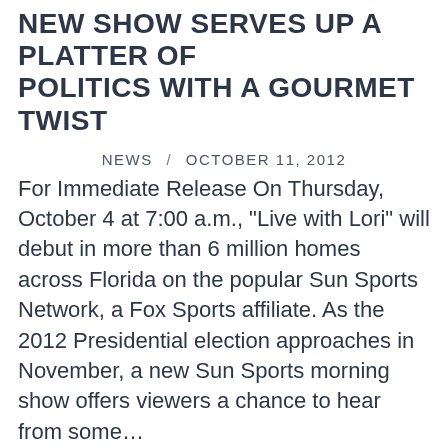NEW SHOW SERVES UP A PLATTER OF POLITICS WITH A GOURMET TWIST
NEWS  /  OCTOBER 11, 2012
For Immediate Release On Thursday, October 4 at 7:00 a.m., “Live with Lori” will debut in more than 6 million homes across Florida on the popular Sun Sports Network, a Fox Sports affiliate. As the 2012 Presidential election approaches in November, a new Sun Sports morning show offers viewers a chance to hear from some…
Search here...
PAST EPISODES